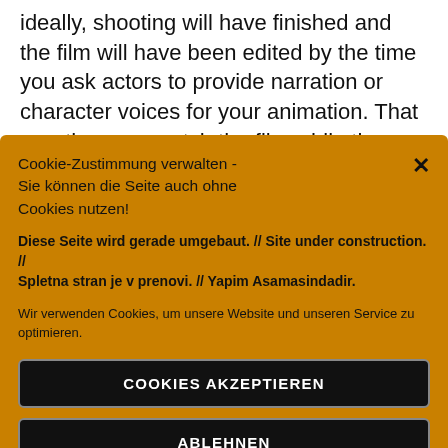ideally, shooting will have finished and the film will have been edited by the time you ask actors to provide narration or character voices for your animation. That way they can watch the film while they dub it. But dubbing can also be done during the shooting stage; the sound is then matched to the relevant part
Cookie-Zustimmung verwalten - Sie können die Seite auch ohne Cookies nutzen!
Diese Seite wird gerade umgebaut. // Site under construction. // Spletna stran je v prenovi. // Yapim Asamasindadir.
Wir verwenden Cookies, um unsere Website und unseren Service zu optimieren.
COOKIES AKZEPTIEREN
ABLEHNEN